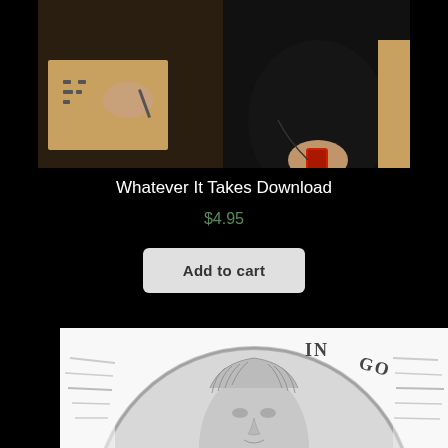[Figure (photo): Close-up photo of two people, one writing on paper, another holding a phone, dark background]
Whatever It Takes Download
$4.95
Add to cart
[Figure (photo): Close-up macro photo of a coin showing a portrait face with text 'IN GO' visible, black and white/grayscale]